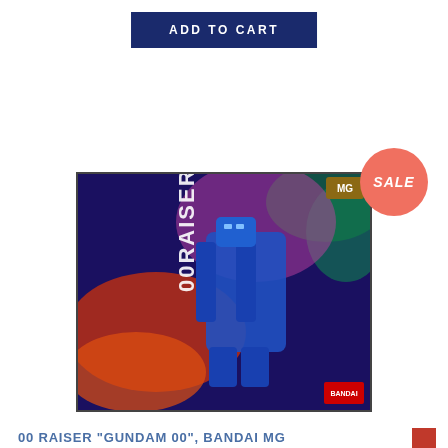ADD TO CART
[Figure (other): SALE circular badge in coral/red color]
[Figure (photo): 00 Raiser Gundam 00 Bandai MG model kit box art showing a blue mech/gundam robot with dynamic action background]
00 RAISER "GUNDAM 00", BANDAI MG
[Figure (other): Red bookmark ribbon icon]
Have a cookie
$50.00
Accept the use of cookies on this site more information
Sold Out
I Accept
ADD TO CART